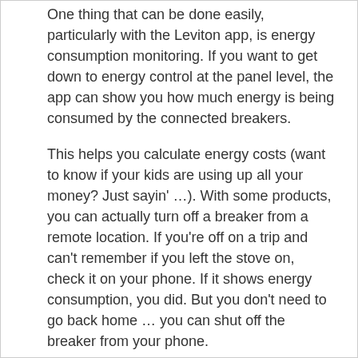One thing that can be done easily, particularly with the Leviton app, is energy consumption monitoring. If you want to get down to energy control at the panel level, the app can show you how much energy is being consumed by the connected breakers.
This helps you calculate energy costs (want to know if your kids are using up all your money? Just sayin' …). With some products, you can actually turn off a breaker from a remote location. If you're off on a trip and can't remember if you left the stove on, check it on your phone. If it shows energy consumption, you did. But you don't need to go back home … you can shut off the breaker from your phone.
Note: while you can turn a breaker off, you can't turn it back on. It's a safety thing.
You can power all of your circuits with smart breakers, or just the critical ones you want to monitor. The choice is up to you. Just understand that the breakers can only be